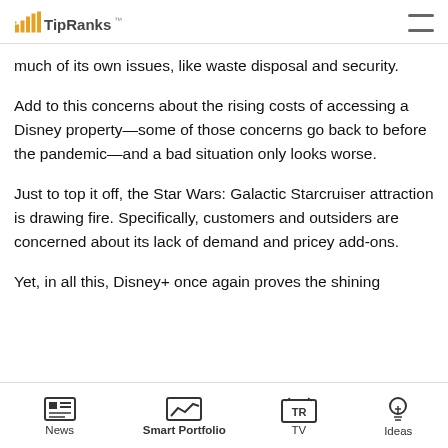TipRanks
much of its own issues, like waste disposal and security.
Add to this concerns about the rising costs of accessing a Disney property—some of those concerns go back to before the pandemic—and a bad situation only looks worse.
Just to top it off, the Star Wars: Galactic Starcruiser attraction is drawing fire. Specifically, customers and outsiders are concerned about its lack of demand and pricey add-ons.
Yet, in all this, Disney+ once again proves the shining
News  Smart Portfolio  TV  Ideas